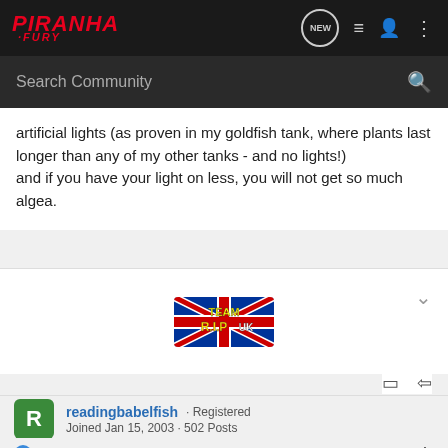PIRANHA FURY — Search Community
artificial lights (as proven in my goldfish tank, where plants last longer than any of my other tanks - and no lights!)
and if you have your light on less, you will not get so much algea.
[Figure (logo): Team R.I.P UK banner with UK flag background and yellow/red text]
readingbabelfish · Registered
Joined Jan 15, 2003 · 502 Posts
Discussion Starter · #12 · Mar 30, 2003